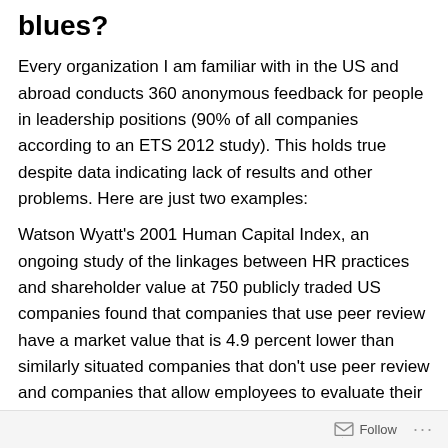blues?
Every organization I am familiar with in the US and abroad conducts 360 anonymous feedback for people in leadership positions (90% of all companies according to an ETS 2012 study). This holds true despite data indicating lack of results and other problems. Here are just two examples:
Watson Wyatt's 2001 Human Capital Index, an ongoing study of the linkages between HR practices and shareholder value at 750 publicly traded US companies found that companies that use peer review have a market value that is 4.9 percent lower than similarly situated companies that don't use peer review and companies that allow employees to evaluate their managers are valued
Follow ...